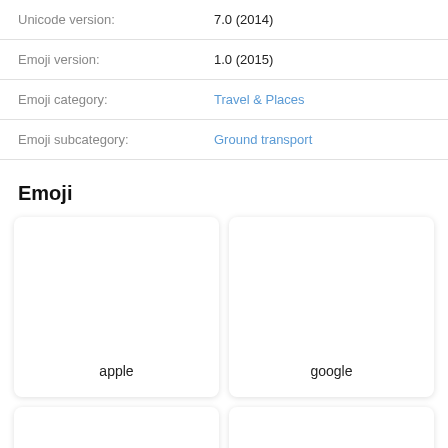| Unicode version: | 7.0 (2014) |
| Emoji version: | 1.0 (2015) |
| Emoji category: | Travel & Places |
| Emoji subcategory: | Ground transport |
Emoji
[Figure (other): Two emoji display cards side by side. Left card labeled 'apple', right card labeled 'google'. Both cards are white with rounded corners and subtle shadow, with the vendor name centered at the bottom. Below these two cards, two more partially visible cards are shown.]